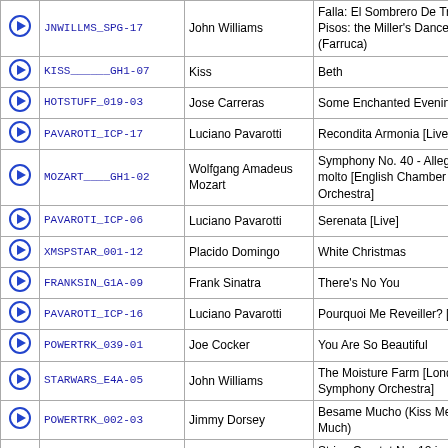|  | Code | Artist | Title |
| --- | --- | --- | --- |
| ▶ | JNWILLMS_SPG-17 | John Williams | Falla: El Sombrero De Tres Pisos: the Miller's Dance (Farruca) |
| ▶ | KISS______GH1-07 | Kiss | Beth |
| ▶ | HOTSTUFF_019-03 | Jose Carreras | Some Enchanted Evening |
| ▶ | PAVAROTI_ICP-17 | Luciano Pavarotti | Recondita Armonia [Live] |
| ▶ | MOZART____GH1-02 | Wolfgang Amadeus Mozart | Symphony No. 40 - Allegro molto [English Chamber Orchestra] |
| ▶ | PAVAROTI_ICP-06 | Luciano Pavarotti | Serenata [Live] |
| ▶ | XMSPSTAR_001-12 | Placido Domingo | White Christmas |
| ▶ | FRANKSIN_G1A-09 | Frank Sinatra | There's No You |
| ▶ | PAVAROTI_ICP-16 | Luciano Pavarotti | Pourquoi Me Reveiller? [Live] |
| ▶ | POWERTRK_039-01 | Joe Cocker | You Are So Beautiful |
| ▶ | STARWARS_E4A-05 | John Williams | The Moisture Farm [London Symphony Orchestra] |
| ▶ | POWERTRK_002-03 | Jimmy Dorsey | Besame Mucho (Kiss Me Much) |
| ▶ | CLASS4RD_001-05 | Franz Schubert | String Quartet No. 12 in C minor [Russian National Cinema Symphony Orchestra] |
| ▶ | SNDMUSIC_ST1-01 | Julie Andrews | Prelude And the Sound of Music |
| ▶ | CMPWEDNG_01A-12 | Georg Frederic Handel | Entrance of the Queen of Sheba |
| ▶ | ROMANTIC_21C-06 | Johann Sebastian Bach | Brandenburg Concerto No. 4 (2nd movement) |
| ▶ | SNDMUSIC_ST1-02 | Sound of Music Nuns Chorus | Overture And Preludium (Dixit Dominus) |
| ▶ | STARWARS_GH1-06 | John Williams | Parade of the Ewoks |
| ▶ | HLTHERNS_019-07 | Piotr Illitch | Flower Waltz |